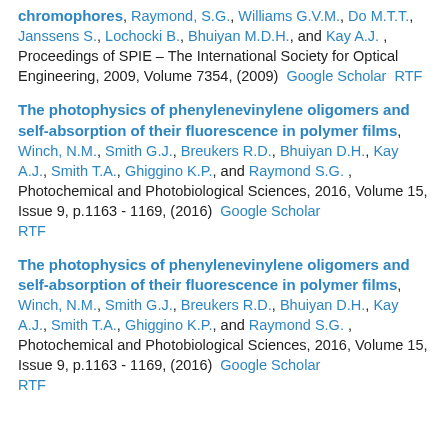chromophores, Raymond, S.G., Williams G.V.M., Do M.T.T., Janssens S., Lochocki B., Bhuiyan M.D.H., and Kay A.J. , Proceedings of SPIE – The International Society for Optical Engineering, 2009, Volume 7354, (2009)  Google Scholar  RTF
The photophysics of phenylenevinylene oligomers and self-absorption of their fluorescence in polymer films, Winch, N.M., Smith G.J., Breukers R.D., Bhuiyan D.H., Kay A.J., Smith T.A., Ghiggino K.P., and Raymond S.G. , Photochemical and Photobiological Sciences, 2016, Volume 15, Issue 9, p.1163 - 1169, (2016)  Google Scholar  RTF
The photophysics of phenylenevinylene oligomers and self-absorption of their fluorescence in polymer films, Winch, N.M., Smith G.J., Breukers R.D., Bhuiyan D.H., Kay A.J., Smith T.A., Ghiggino K.P., and Raymond S.G. , Photochemical and Photobiological Sciences, 2016, Volume 15, Issue 9, p.1163 - 1169, (2016)  Google Scholar  RTF